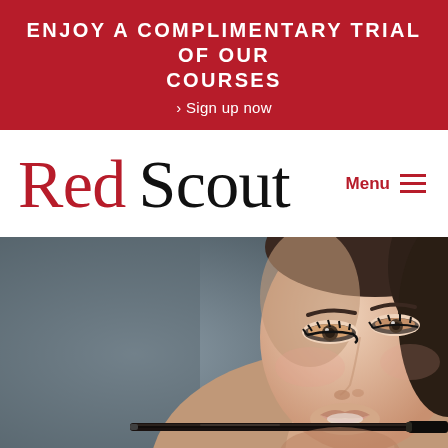ENJOY A COMPLIMENTARY TRIAL OF OUR COURSES
> Sign up now
Red Scout
Menu ≡
[Figure (photo): Fashion/beauty photograph of a young woman with dramatic eye makeup, holding a black makeup brush or pen horizontally in her mouth, against a dark grey gradient background.]